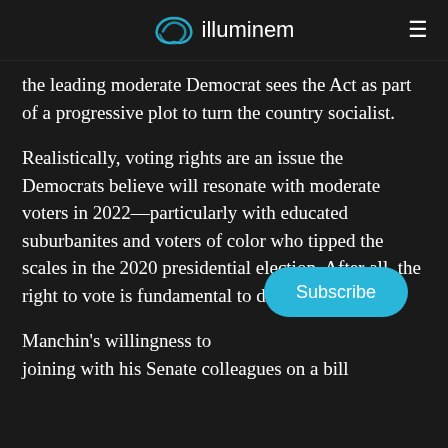illuminem
the leading moderate Democrat sees the Act as part of a progressive plot to turn the country socialist.
Realistically, voting rights are an issue the Democrats believe will resonate with moderate voters in 2022—particularly with educated suburbanites and voters of color who tipped the scales in the 2020 presidential election. After all, the right to vote is fundamental to democracy.
Manchin's willingness to find a way of joining with his Senate colleagues on a bill